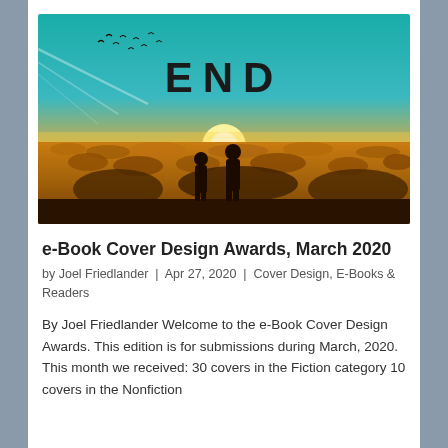[Figure (photo): Book cover image showing two silhouettes of people standing in a dramatic golden sunset landscape with the word 'END' in large block letters across the sky, birds visible in the background.]
e-Book Cover Design Awards, March 2020
by Joel Friedlander | Apr 27, 2020 | Cover Design, E-Books & Readers
By Joel Friedlander Welcome to the e-Book Cover Design Awards. This edition is for submissions during March, 2020. This month we received: 30 covers in the Fiction category 10 covers in the Nonfiction category Ron Atkins. We are one book ahead...